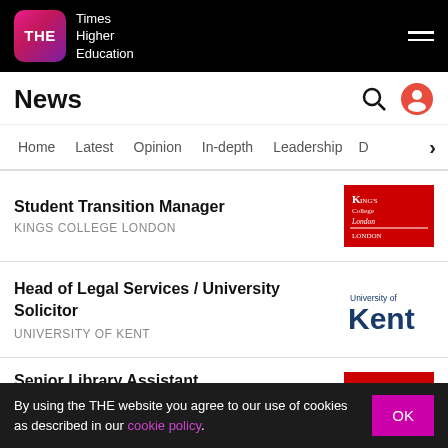THE Times Higher Education
News
Home | Latest | Opinion | In-depth | Leadership | D
Student Transition Manager — KINGS COLLEGE LONDON
Head of Legal Services / University Solicitor — UNIVERSITY OF KENT
Senior Library Assistant — KINGS COLLEGE LONDON
By using the THE website you agree to our use of cookies as described in our cookie policy.